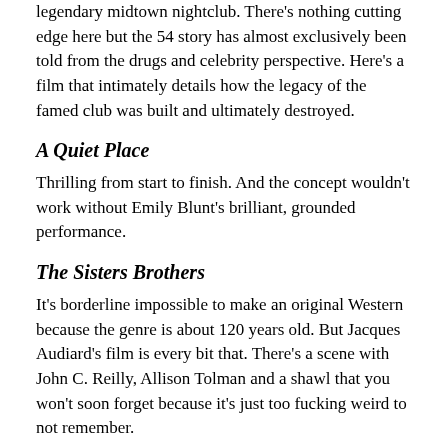legendary midtown nightclub. There's nothing cutting edge here but the 54 story has almost exclusively been told from the drugs and celebrity perspective. Here's a film that intimately details how the legacy of the famed club was built and ultimately destroyed.
A Quiet Place
Thrilling from start to finish. And the concept wouldn't work without Emily Blunt's brilliant, grounded performance.
The Sisters Brothers
It's borderline impossible to make an original Western because the genre is about 120 years old. But Jacques Audiard's film is every bit that. There's a scene with John C. Reilly, Allison Tolman and a shawl that you won't soon forget because it's just too fucking weird to not remember.
A Private War
Rosamund Pike's performance is a hell storm. Her Marie Colvin is devoured by booze and mental illness and